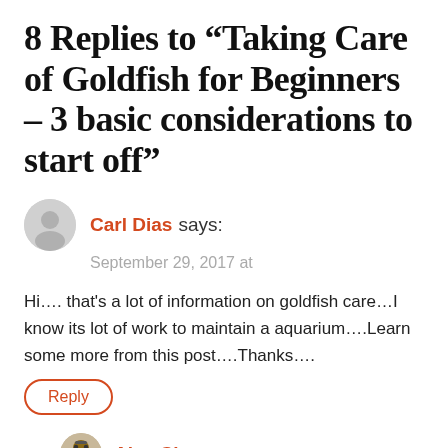8 Replies to “Taking Care of Goldfish for Beginners – 3 basic considerations to start off”
Carl Dias says:
September 29, 2017 at
Hi…. that’s a lot of information on goldfish care…I know its lot of work to maintain a aquarium….Learn some more from this post….Thanks….
Reply
Alex Chong says:
September 29, 2017 at
Hi Carl,
Thanks for the visit. Yeah , keeping goldfish